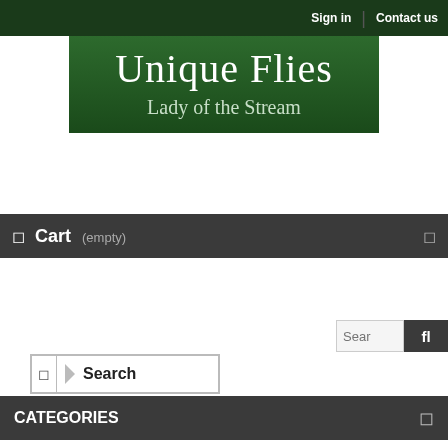Sign in | Contact us
Unique Flies
Lady of the Stream
Cart (empty)
Search
Search
CATEGORIES
TAGS